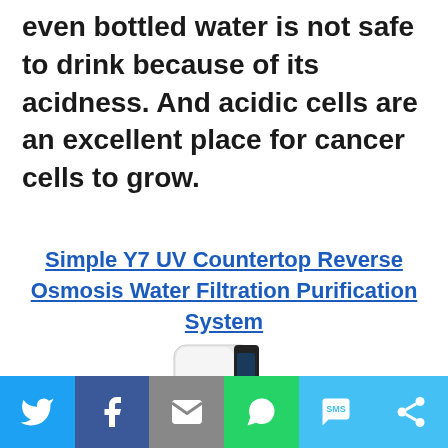even bottled water is not safe to drink because of its acidness. And acidic cells are an excellent place for cancer cells to grow.
Simple Y7 UV Countertop Reverse Osmosis Water Filtration Purification System
[Figure (photo): White and black countertop water purification/filtration system dispensing water into a cup]
[Figure (infographic): Social sharing bar with icons for Twitter, Facebook, Email, WhatsApp, SMS, and More]